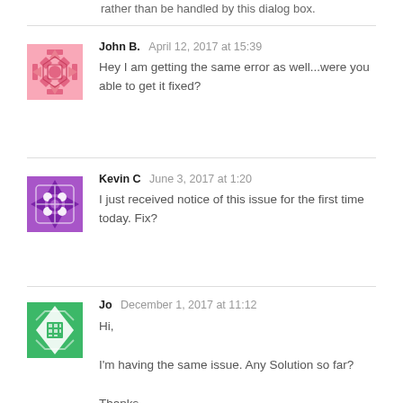rather than be handled by this dialog box.
John B.  April 12, 2017 at 15:39
Hey I am getting the same error as well...were you able to get it fixed?
Kevin C  June 3, 2017 at 1:20
I just received notice of this issue for the first time today. Fix?
Jo  December 1, 2017 at 11:12
Hi,

I'm having the same issue. Any Solution so far?

Thanks